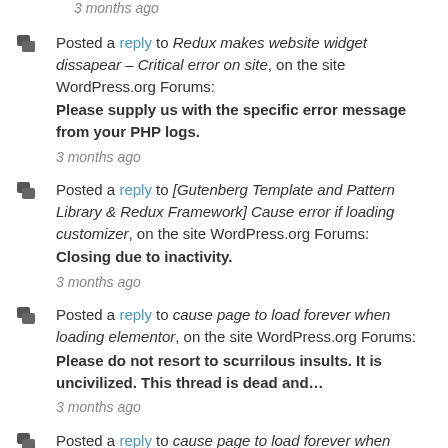3 months ago
Posted a reply to Redux makes website widget dissapear – Critical error on site, on the site WordPress.org Forums: Please supply us with the specific error message from your PHP logs. 3 months ago
Posted a reply to [Gutenberg Template and Pattern Library & Redux Framework] Cause error if loading customizer, on the site WordPress.org Forums: Closing due to inactivity. 3 months ago
Posted a reply to cause page to load forever when loading elementor, on the site WordPress.org Forums: Please do not resort to scurrilous insults. It is uncivilized. This thread is dead and… 3 months ago
Posted a reply to cause page to load forever when loading elementor, on the site WordPress.org Forums: Exactly. I do not have Elementor Pro. I do not have the premium theme you…